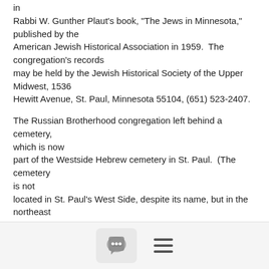in
Rabbi W. Gunther Plaut's book, "The Jews in Minnesota," published by the
American Jewish Historical Association in 1959.  The congregation's records
may be held by the Jewish Historical Society of the Upper Midwest, 1536
Hewitt Avenue, St. Paul, Minnesota 55104, (651) 523-2407.
The Russian Brotherhood congregation left behind a cemetery, which is now
part of the Westside Hebrew cemetery in St. Paul.  (The cemetery is not
located in St. Paul's West Side, despite its name, but in the northeast
section of St. Paul.  Another example of why Minneapolitans are so confused
by St. Paul.)  You may contact me privately for the name and telephone
[Figure (screenshot): UI toolbar with a chat bubble icon button and a hamburger menu icon]